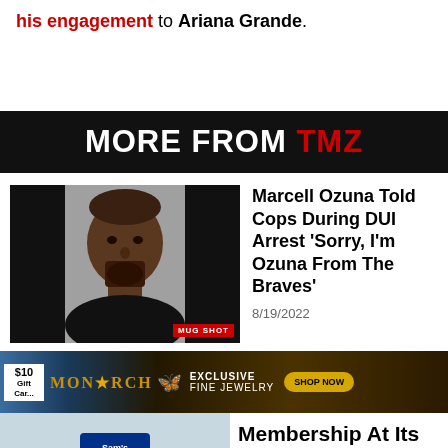his engagement to Ariana Grande.
MORE FROM TMZ
[Figure (photo): Mug shot photo of Marcell Ozuna, a man with a shaved head and beard wearing a black shirt, labeled MUG SHOT]
Marcell Ozuna Told Cops During DUI Arrest 'Sorry, I'm Ozuna From The Braves'
8/19/2022
[Figure (photo): Advertisement for Monarch Collection exclusive fine jewelry with Shop Now button]
Membership At Its